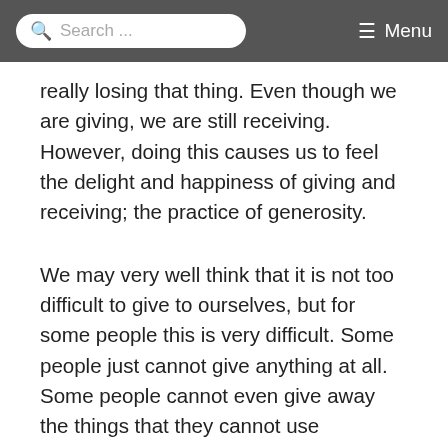Search ... Menu
really losing that thing. Even though we are giving, we are still receiving. However, doing this causes us to feel the delight and happiness of giving and receiving; the practice of generosity.
We may very well think that it is not too difficult to give to ourselves, but for some people this is very difficult. Some people just cannot give anything at all. Some people cannot even give away the things that they cannot use themselves, they keep them at all times. There are some types of beings who find it very difficult to give even a cup of water to others.
These kinds of people will take rebirth in the hungry ghost realm. The hungry ghosts have three kinds of